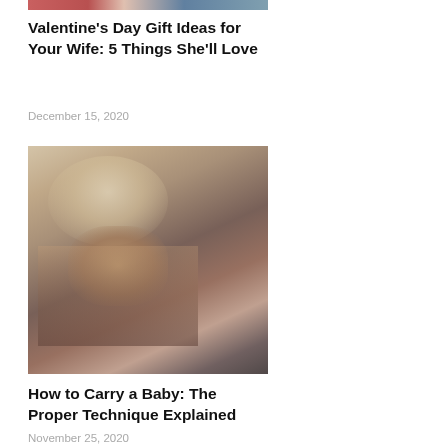[Figure (photo): Top portion of a cropped photo, likely a Valentine's Day related image, partially visible at top of page]
Valentine’s Day Gift Ideas for Your Wife: 5 Things She’ll Love
December 15, 2020
[Figure (photo): Woman holding a newborn baby, showing proper baby carrying technique]
How to Carry a Baby: The Proper Technique Explained
November 25, 2020